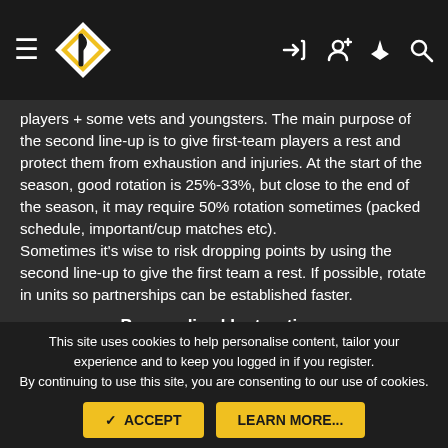Navigation header with hamburger menu, logo, and icons
players + some vets and youngsters. The main purpose of the second line-up is to give first-team players a rest and protect them from exhaustion and injuries. At the start of the season, good rotation is 25%-33%, but close to the end of the season, it may require 50% rotation sometimes (packed schedule, important/cup matches etc). Sometimes it's wise to risk dropping points by using the second line-up to give the first team a rest. If possible, rotate in units so partnerships can be established faster.
Personalized Instructions
I strongly recommend avoiding any types of personalized, especially asymmetrical, instructions. For example, "Shoot
This site uses cookies to help personalise content, tailor your experience and to keep you logged in if you register.
By continuing to use this site, you are consenting to our use of cookies.
✓ ACCEPT   LEARN MORE...